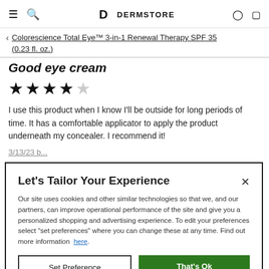DERMSTORE navigation bar with hamburger menu, search, logo, user account and cart icons
Colorescience Total Eye™ 3-in-1 Renewal Therapy SPF 35 (0.23 fl. oz.)
Good eye cream
★★★★☆ (4 out of 5 stars)
I use this product when I know I'll be outside for long periods of time. It has a comfortable applicator to apply the product underneath my concealer. I recommend it!
Let's Tailor Your Experience
Our site uses cookies and other similar technologies so that we, and our partners, can improve operational performance of the site and give you a personalized shopping and advertising experience. To edit your preferences select "set preferences" where you can change these at any time. Find out more information here.
Set Preference | That's Ok